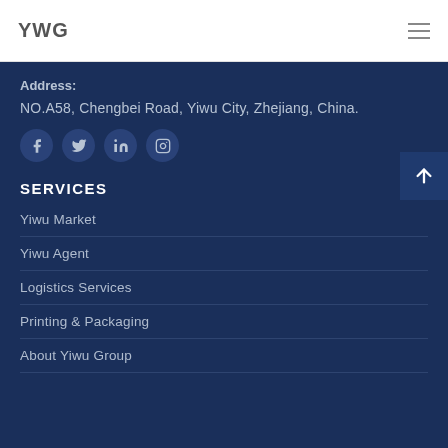YWG
Address:
NO.A58, Chengbei Road, Yiwu City, Zhejiang, China.
[Figure (other): Social media icons: Facebook, Twitter, LinkedIn, Instagram]
SERVICES
Yiwu Market
Yiwu Agent
Logistics Services
Printing & Packaging
About Yiwu Group